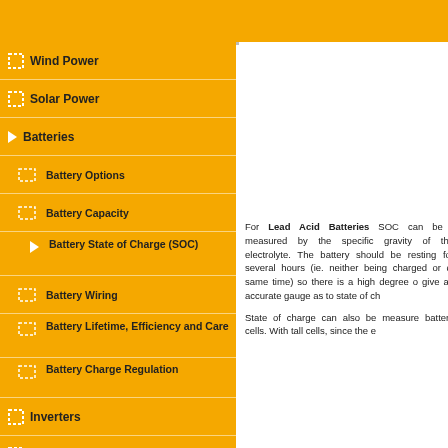Wind Power
Solar Power
Batteries
Battery Options
Battery Capacity
Battery State of Charge (SOC)
Battery Wiring
Battery Lifetime, Efficiency and Care
Battery Charge Regulation
Inverters
Generators
Other System Components
For Lead Acid Batteries SOC can be measured by the specific gravity (SG) of the electrolyte (battery acid). The battery should be resting for several hours (ie. neither being charged or discharged at the same time) so there is a high degree of accuracy, and give an accurate gauge as to state of charge.
State of charge can also be measured by the electrolyte level of the battery cells. With tall cells, since the e...